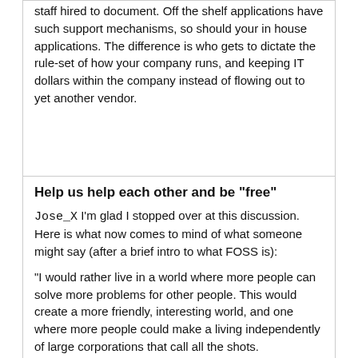staff hired to document. Off the shelf applications have such support mechanisms, so should your in house applications. The difference is who gets to dictate the rule-set of how your company runs, and keeping IT dollars within the company instead of flowing out to yet another vendor.
Help us help each other and be "free"
Jose_X I'm glad I stopped over at this discussion. Here is what now comes to mind of what someone might say (after a brief intro to what FOSS is):
"I would rather live in a world where more people can solve more problems for other people. This would create a more friendly, interesting world, and one where more people could make a living independently of large corporations that call all the shots.
"The Internet as we know it today exists because a small part